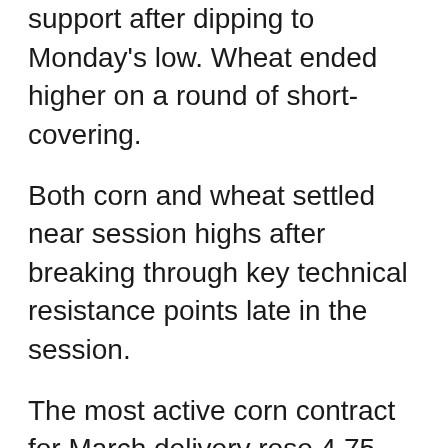support after dipping to Monday's low. Wheat ended higher on a round of short-covering.
Both corn and wheat settled near session highs after breaking through key technical resistance points late in the session.
The most active corn contract for March delivery rose 4.75 cents, or 1.31 percent, to 3.685 dollars per bushel. March wheat delivery rose 8.25 cents, or 1.95 percent, to 4.3075 dollars per bushel. March soybeans added 6.75 cents, or 0.65 percent, to 10.4275 dollars per bushel.
In the outside markets, the Brent crude oil